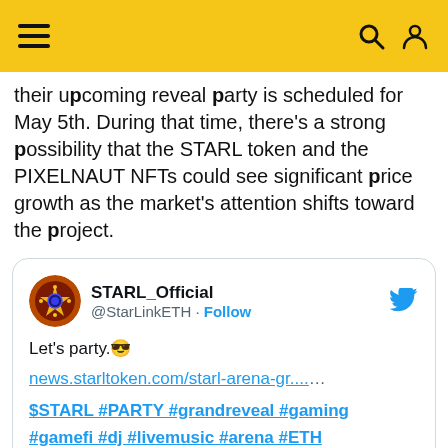≡   🔍 👤
their upcoming reveal party is scheduled for May 5th. During that time, there's a strong possibility that the STARL token and the PIXELNAUT NFTs could see significant price growth as the market's attention shifts toward the project.
[Figure (screenshot): Embedded tweet from STARL_Official (@StarLinkETH) with Twitter bird icon, profile avatar, Follow link, tweet text: Let's party 😎, link: news.starltoken.com/starl-arena-gr...…, hashtags: $STARL #PARTY #grandreveal #gaming #gamefi #dj #livemusic #arena #ETH #BTC #NFT]